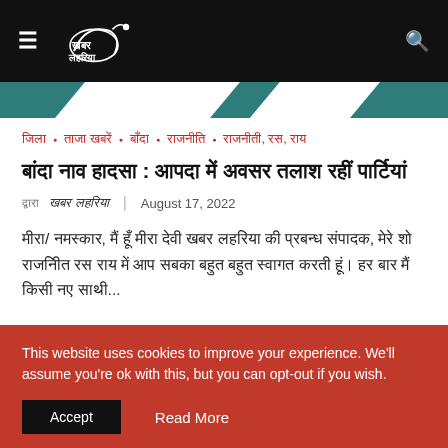खबर लहरिया – navigation header
जिला • ताजा खबरें • बाँदा • राजनीति • राजनीती, रस, राय
बांदा नाव हादसा : आपदा में अवसर तलाश रहीं पार्टियां
द्वारा खबर लहरिया | August 17, 2022
मीरा/ नमस्कार, मैं हूँ मीरा देवी खबर लहरिया की प्रबन्ध संपादक, मेरे शो राजनीित रस राय में आप सबका बहुत बहुत स्वागत करती हूं। हर बार मैं किसी नए साथी...
This website uses cookies to improve your experience. We'll assume you're ok with this, but you can opt-out if you wish.